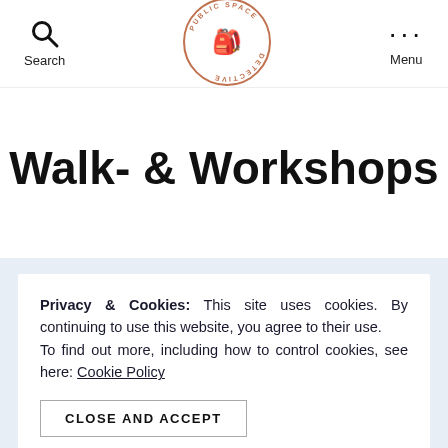[Figure (logo): Public Space Detective circular logo with illustrated character wearing glasses, text around the circle reads 'PUBLIC SPACE DETECTIVE']
Walk- & Workshops
Privacy & Cookies: This site uses cookies. By continuing to use this website, you agree to their use.
To find out more, including how to control cookies, see here: Cookie Policy
CLOSE AND ACCEPT